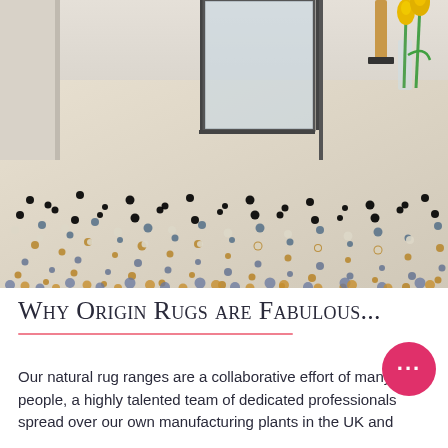[Figure (photo): Close-up photograph of a multicolored pebble-texture rug with grey, yellow/gold, and white tones, laid on a light floor. In the background is a glass door/window frame, a wooden sculpture on a base, and yellow tulips in a vase.]
Why Origin Rugs are Fabulous...
Our natural rug ranges are a collaborative effort of many people, a highly talented team of dedicated professionals spread over our own manufacturing plants in the UK and